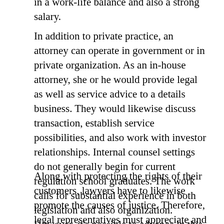in a work-life balance and also a strong salary.
In addition to private practice, an attorney can operate in government or in private organization. As an in-house attorney, she or he would provide legal as well as service advice to a details business. They would likewise discuss transaction, establish service possibilities, and also work with investor relationships. Internal counsel settings do not generally begin for current regulation school graduates. The work calls for substantial experience in both legislation and also organization. However, it's possible to advance in this occupation.
Along with protecting the rights of their customers, lawyers have to likewise promote the causes of justice. Therefore, legal representatives must appreciate and also support civils rights as well as the basic freedoms acknowledged by nationwide regulation. Eventually, attorneys should constantly act in the most effective